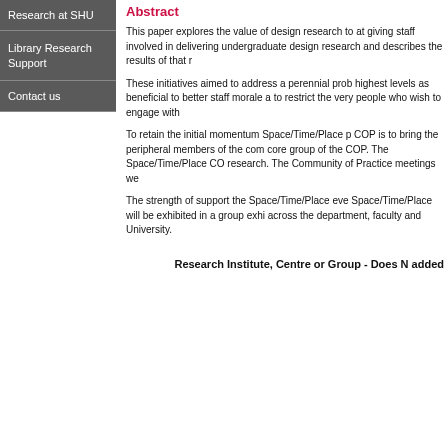Research at SHU
Library Research Support
Contact us
Abstract
This paper explores the value of design research to at giving staff involved in delivering undergraduate design research and describes the results of that r
These initiatives aimed to address a perennial prob highest levels as beneficial to better staff morale a to restrict the very people who wish to engage with
To retain the initial momentum Space/Time/Place p COP is to bring the peripheral members of the com core group of the COP. The Space/Time/Place CO research. The Community of Practice meetings we
The strength of support the Space/Time/Place eve Space/Time/Place will be exhibited in a group exhi across the department, faculty and University.
Research Institute, Centre or Group - Does N added